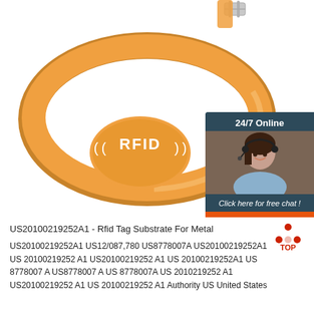[Figure (photo): Orange RFID silicone wristband with ((RFID)) logo on the oval face, metal clasp visible at top, white background. Overlaid with a customer service chat widget in dark teal showing a smiling woman with headset, '24/7 Online' header, 'Click here for free chat!' text, and an orange 'QUOTATION' button.]
US20100219252A1 - Rfid Tag Substrate For Metal
US20100219252A1 US12/087,780 US8778007A US20100219252A1 US 20100219252 A1 US20100219252 A1 US 20100219252A1 US 8778007 A US8778007 A US 8778007A US 2010219252 A1 US20100219252 A1 US 20100219252 A1 Authority US United States